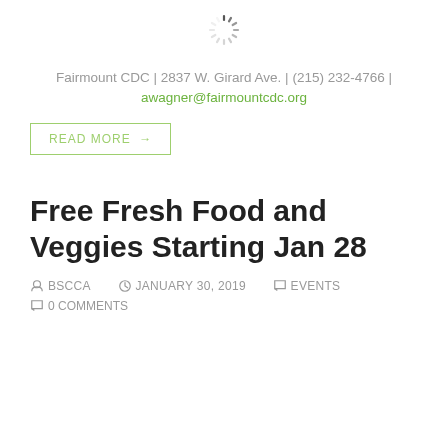[Figure (other): Loading spinner icon in gray]
Fairmount CDC | 2837 W. Girard Ave. | (215) 232-4766 | awagner@fairmountcdc.org
READ MORE →
Free Fresh Food and Veggies Starting Jan 28
BSCCA   JANUARY 30, 2019   EVENTS
0 COMMENTS